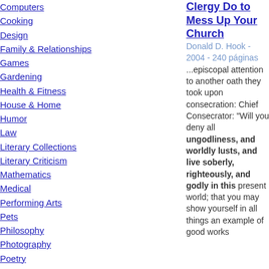Computers
Cooking
Design
Family & Relationships
Games
Gardening
Health & Fitness
House & Home
Humor
Law
Literary Collections
Literary Criticism
Mathematics
Medical
Performing Arts
Pets
Philosophy
Photography
Poetry
Political Science
Psychology
Religion
Clergy Do to Mess Up Your Church
Donald D. Hook - 2004 - 240 páginas
...episcopal attention to another oath they took upon consecration: Chief Consecrator: "Will you deny all ungodliness, and worldly lusts, and live soberly, righteously, and godly in this present world; that you may show yourself in all things an example of good works